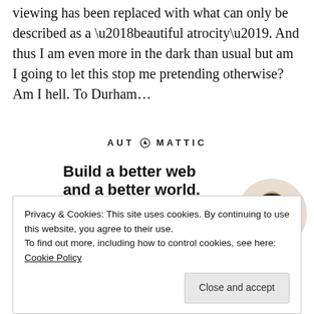viewing has been replaced with what can only be described as a ‘beautiful atrocity’. And thus I am even more in the dark than usual but am I going to let this stop me pretending otherwise? Am I hell. To Durham…
[Figure (logo): Automattic logo text with stylized 'O' containing a compass/clock icon]
[Figure (illustration): Advertisement for Automattic: 'Build a better web and a better world.' with an Apply button and a circular portrait photo of a man with glasses and beard]
Privacy & Cookies: This site uses cookies. By continuing to use this website, you agree to their use.
To find out more, including how to control cookies, see here: Cookie Policy
Close and accept